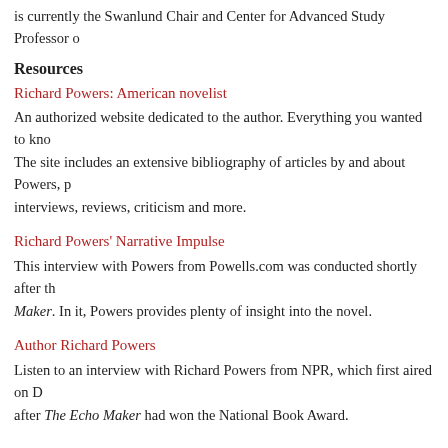is currently the Swanlund Chair and Center for Advanced Study Professor o
Resources
Richard Powers: American novelist
An authorized website dedicated to the author. Everything you wanted to kno The site includes an extensive bibliography of articles by and about Powers, p interviews, reviews, criticism and more.
Richard Powers' Narrative Impulse
This interview with Powers from Powells.com was conducted shortly after th Maker. In it, Powers provides plenty of insight into the novel.
Author Richard Powers
Listen to an interview with Richard Powers from NPR, which first aired on D after The Echo Maker had won the National Book Award.
— Alice Maggio / Comments (1)
BOOK CLUB WED AUG 05 2009